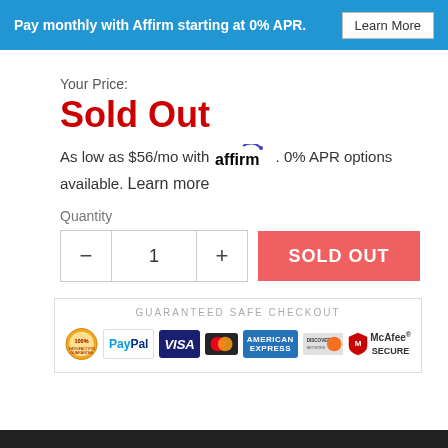Pay monthly with Affirm starting at 0% APR. Learn More
Your Price:
Sold Out
As low as $56/mo with affirm. 0% APR options available. Learn more
Quantity
[Figure (infographic): Quantity selector with minus button, value 1, plus button, and a red SOLD OUT button]
[Figure (infographic): Guaranteed Safe Checkout badge with PayPal, Visa, Mastercard, American Express, Discover, and McAfee Secure logos]